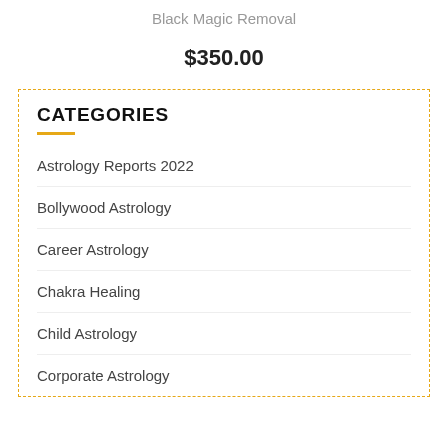Black Magic Removal
$350.00
CATEGORIES
Astrology Reports 2022
Bollywood Astrology
Career Astrology
Chakra Healing
Child Astrology
Corporate Astrology